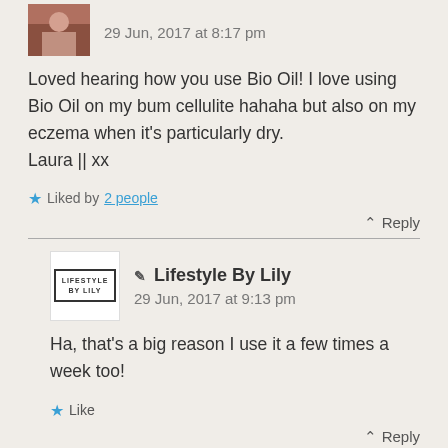29 Jun, 2017 at 8:17 pm
Loved hearing how you use Bio Oil! I love using Bio Oil on my bum cellulite hahaha but also on my eczema when it's particularly dry.
Laura || xx
Liked by 2 people
↑ Reply
Lifestyle By Lily — 29 Jun, 2017 at 9:13 pm
Ha, that's a big reason I use it a few times a week too!
Like
↑ Reply